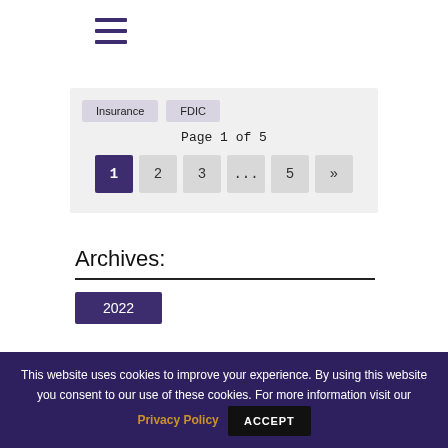[Figure (other): Hamburger menu icon (three horizontal lines) in dark purple]
Insurance   FDIC
Page 1 of 5
1  2  3  ...  5  »
Archives:
2022
This website uses cookies to improve your experience. By using this website you consent to our use of these cookies. For more information visit our Privacy Policy  ACCEPT